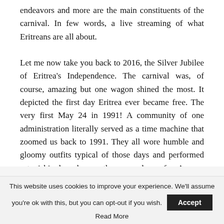endeavors and more are the main constituents of the carnival. In few words, a live streaming of what Eritreans are all about.
Let me now take you back to 2016, the Silver Jubilee of Eritrea's Independence. The carnival was, of course, amazing but one wagon shined the most. It depicted the first day Eritrea ever became free. The very first May 24 in 1991! A community of one administration literally served as a time machine that zoomed us back to 1991. They all wore humble and gloomy outfits typical of those days and performed astonishingly how the people of Asmara enthusiastically welcomed the freedom fighters. It
This website uses cookies to improve your experience. We'll assume you're ok with this, but you can opt-out if you wish. Accept
Read More